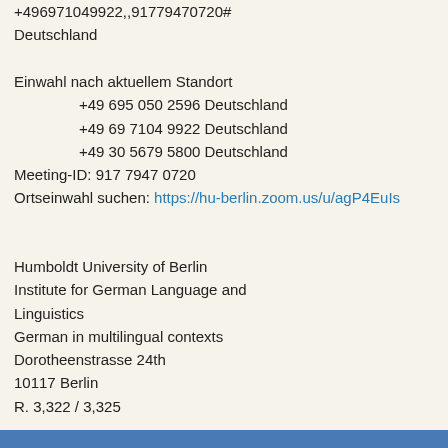+496971049922,,91779470720#
Deutschland
Einwahl nach aktuellem Standort
    +49 695 050 2596 Deutschland
    +49 69 7104 9922 Deutschland
    +49 30 5679 5800 Deutschland
Meeting-ID: 917 7947 0720
Ortseinwahl suchen: https://hu-berlin.zoom.us/u/agP4EuIs
Humboldt University of Berlin
Institute for German Language and Linguistics
German in multilingual contexts
Dorotheenstrasse 24th
10117 Berlin
R. 3,322 / 3,325